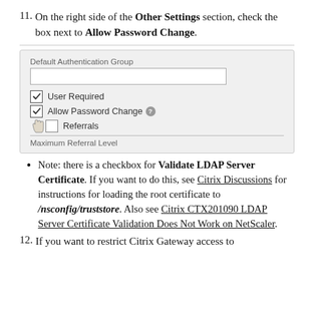11. On the right side of the Other Settings section, check the box next to Allow Password Change.
[Figure (screenshot): UI screenshot showing Default Authentication Group field with text input, checkboxes for User Required and Allow Password Change (both checked with cursor hand on Allow Password Change), Referrals checkbox, and Maximum Referral Level label with separator line.]
Note: there is a checkbox for Validate LDAP Server Certificate. If you want to do this, see Citrix Discussions for instructions for loading the root certificate to /nsconfig/truststore. Also see Citrix CTX201090 LDAP Server Certificate Validation Does Not Work on NetScaler.
12. If you want to restrict Citrix Gateway access to